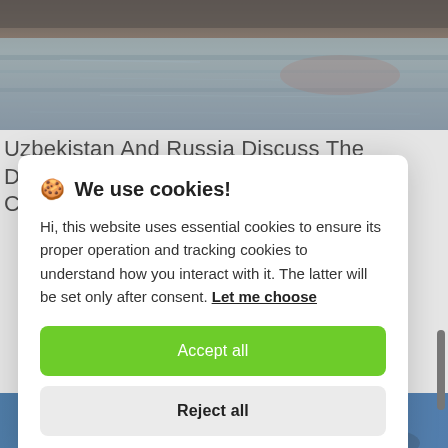[Figure (photo): A photo showing a water surface with a rocky or earthen embankment in the background, cropped at the top of the page.]
Uzbekistan And Russia Discuss The Development Of Trade And Economic Coope...
🍪 We use cookies!
Hi, this website uses essential cookies to ensure its proper operation and tracking cookies to understand how you interact with it. The latter will be set only after consent. Let me choose
Accept all
Reject all
[Figure (photo): A partial photo visible at the bottom of the page, appears to show people, possibly officials.]